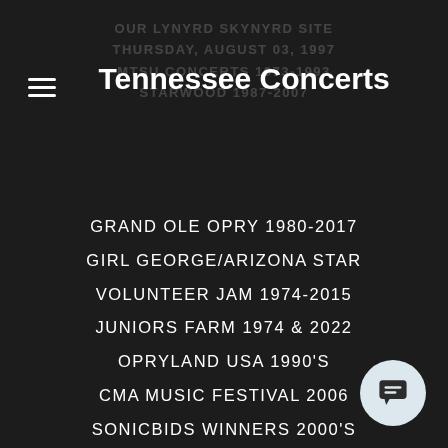Tennessee Concerts
OUR LYNYRD SKYNYRD SITE
THURSDAY, AUGUST 03, 1997
MTSU CONCERTS 1973-1993
STARWOOD 1987-2007
GRAND OLE OPRY 1980-2017
GIRL GEORGE/ARIZONA STAR
VOLUNTEER JAM 1974-2015
JUNIORS FARM 1974 & 2022
OPRYLAND USA 1990'S
CMA MUSIC FESTIVAL 2006
SONICBIDS WINNERS 2000'S
EXIT IN - 2011
PLAY AGAIN JAM 2006-2011
PAT ADAMS CONCERT BLOG
CONTACT US
OUR EBAY MUSIC STORE
JOIN US ON FACEBOOK